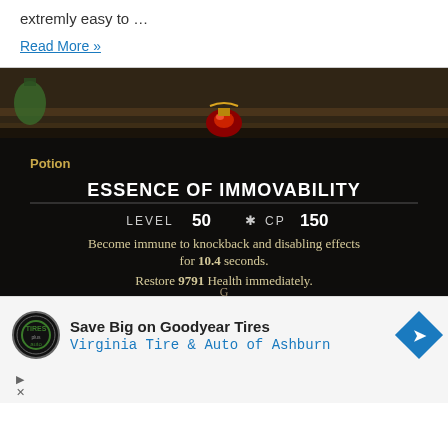extremly easy to …
Read More »
[Figure (screenshot): Game screenshot showing 'Essence of Immovability' potion tooltip from Elder Scrolls Online. Shows: Potion label, item name ESSENCE OF IMMOVABILITY, LEVEL 50, CP 150, description: Become immune to knockback and disabling effects for 10.4 seconds. Restore 9791 Health immediately.]
Save Big on Goodyear Tires Virginia Tire & Auto of Ashburn